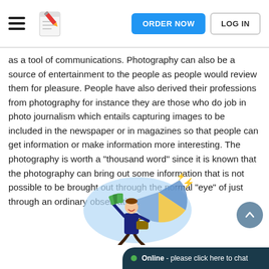ORDER NOW | LOG IN
as a tool of communications. Photography can also be a source of entertainment to the people as people would review them for pleasure. People have also derived their professions from photography for instance they are those who do job in photo journalism which entails capturing images to be included in the newspaper or in magazines so that people can get information or make information more interesting. The photography is worth a "thousand word" since it is known that the photography can bring out some information that is not possible to be brought out through the normal "eye" of just through an ordinary observation.
[Figure (illustration): Cartoon illustration of a businessman with a briefcase holding money, with a pie chart in the background and lightning bolts, in a blue circular background.]